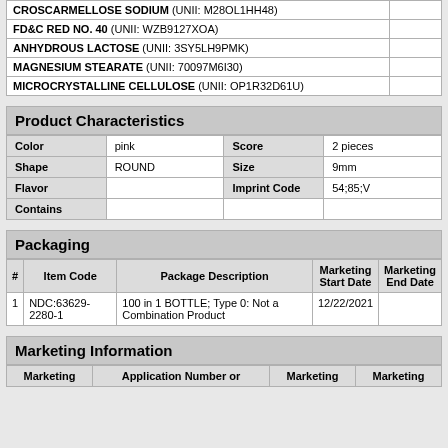| Ingredient |  |
| --- | --- |
| CROSCARMELLOSE SODIUM (UNII: M28OL1HH48) |  |
| FD&C RED NO. 40 (UNII: WZB9127XOA) |  |
| ANHYDROUS LACTOSE (UNII: 3SY5LH9PMK) |  |
| MAGNESIUM STEARATE (UNII: 70097M6I30) |  |
| MICROCRYSTALLINE CELLULOSE (UNII: OP1R32D61U) |  |
Product Characteristics
| Color | pink | Score | 2 pieces |
| Shape | ROUND | Size | 9mm |
| Flavor |  | Imprint Code | 54;85;V |
| Contains |  |  |  |
Packaging
| # | Item Code | Package Description | Marketing Start Date | Marketing End Date |
| --- | --- | --- | --- | --- |
| 1 | NDC:63629-2280-1 | 100 in 1 BOTTLE; Type 0: Not a Combination Product | 12/22/2021 |  |
Marketing Information
| Marketing | Application Number or | Marketing | Marketing |
| --- | --- | --- | --- |